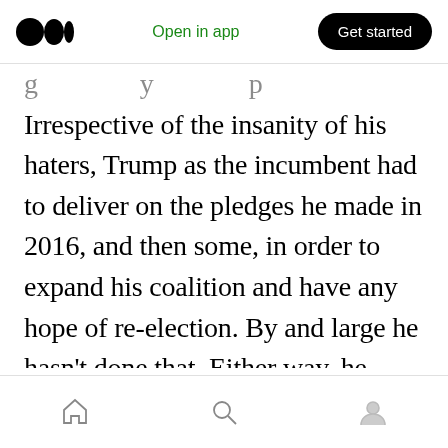[Figure (logo): Medium app logo (three circles) with 'Open in app' green link and 'Get started' black pill button in top navigation bar]
Irrespective of the insanity of his haters, Trump as the incumbent had to deliver on the pledges he made in 2016, and then some, in order to expand his coalition and have any hope of re-election. By and large he hasn't done that. Either way, he screwed up the federal response to a pandemic, so it might've been a wash regardless. And just for the record, Trump himself has certainly been more than happy to provoke, troll, and needle his foes, so it's not as if he's blame-free in the ensuing miasma of hyper-partisan craziness.
[Figure (screenshot): Bottom navigation bar with home, search, and profile icons]